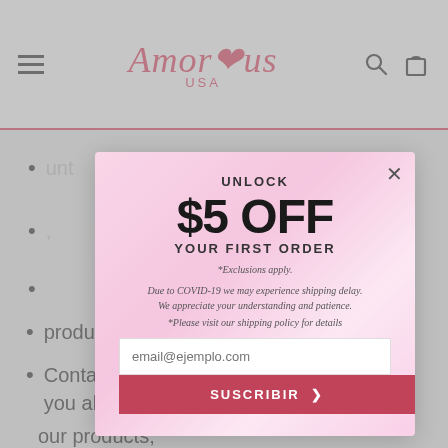Amor us USA
[Figure (screenshot): Amor'us USA e-commerce website header with hamburger menu, logo, search and cart icons]
...unt
...
...f
...the
[Figure (other): Pop-up modal offering $5 OFF your first order. Contains UNLOCK heading, $5 OFF YOUR FIRST ORDER text, *Exclusions apply., COVID-19 shipping delay notice, shipping policy link, email input field, and SUSCRIBIR subscribe button.]
products;
Contacting you about content shared by you about our products;